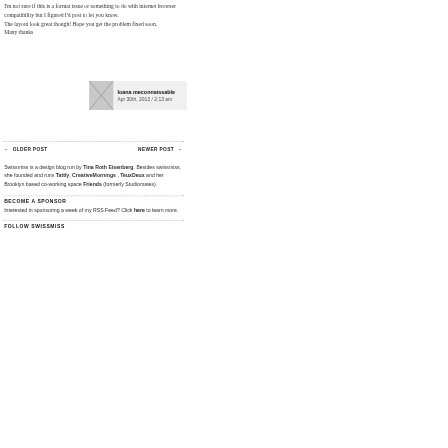I'm not sure if this is a format issue or something to do with internet browser compatibility but I figured I'd post to let you know.
The layout look great though! Hope you get the problem fixed soon.
Many thanks
Ioana meconnaissable
Apr 30th, 2013 / 2:13 am
← OLDER POST      NEWER POST →
Swissmiss is a design blog run by Tina Roth Eisenberg. Besides swissmiss, she founded and runs Tattly, CreativeMornings, TeuxDeux and her Brooklyn based co-working space Friends (formerly Studiomates).
BECOME A SPONSOR
Interested in sponsoring a week of my RSS Feed? Click here to learn more.
FOLLOW SWISSMISS